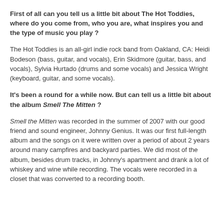First of all can you tell us a little bit about The Hot Toddies, where do you come from, who you are, what inspires you and the type of music you play ?
The Hot Toddies is an all-girl indie rock band from Oakland, CA: Heidi Bodeson (bass, guitar, and vocals), Erin Skidmore (guitar, bass, and vocals), Sylvia Hurtado (drums and some vocals) and Jessica Wright (keyboard, guitar, and some vocals).
It's been a round for a while now. But can tell us a little bit about the album Smell The Mitten ?
Smell the Mitten was recorded in the summer of 2007 with our good friend and sound engineer, Johnny Genius. It was our first full-length album and the songs on it were written over a period of about 2 years around many campfires and backyard parties. We did most of the album, besides drum tracks, in Johnny's apartment and drank a lot of whiskey and wine while recording. The vocals were recorded in a closet that was converted to a recording booth.